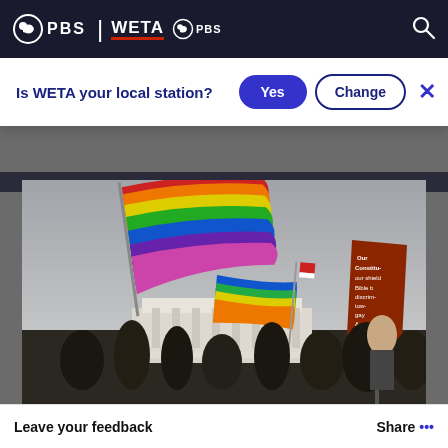PBS | WETA PBS
Is WETA your local station?
Yes
Change
[Figure (photo): People waving rainbow pride flags and a protest sign in front of a neoclassical building (U.S. Supreme Court), overcast sky]
Leave your feedback
Share •••